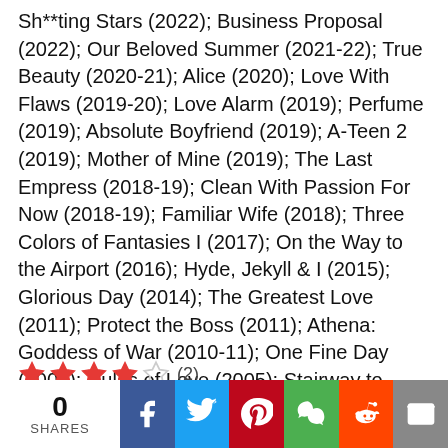Sh**ting Stars (2022); Business Proposal (2022); Our Beloved Summer (2021-22); True Beauty (2020-21); Alice (2020); Love With Flaws (2019-20); Love Alarm (2019); Perfume (2019); Absolute Boyfriend (2019); A-Teen 2 (2019); Mother of Mine (2019); The Last Empress (2018-19); Clean With Passion For Now (2018-19); Familiar Wife (2018); Three Colors of Fantasies I (2017); On the Way to the Airport (2016); Hyde, Jekyll & I (2015); Glorious Day (2014); The Greatest Love (2011); Protect the Boss (2011); Athena: Goddess of War (2010-11); One Fine Day (2006); Rules of Love (2005); Stairway to Heaven (2004); She Is Nineteen (2004); Stairway to Heaven (2003-04); We Are Dating Now (2002); Beautiful Days (2001); Truth (2000)
[Figure (infographic): Star rating: 4 out of 5 stars filled (red), 1 empty star, rating count (2)]